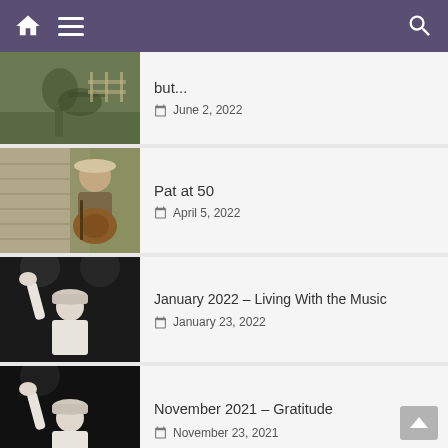Navigation bar with home, menu, and search icons
[Figure (photo): Person playing guitar outdoors]
but...
June 2, 2022
[Figure (photo): Man with hat holding guitar]
Pat at 50
April 5, 2022
[Figure (photo): Person on stage raising hand with rock sign]
January 2022 – Living With the Music
January 23, 2022
[Figure (photo): Person on stage raising hand with rock sign]
November 2021 – Gratitude
November 23, 2021